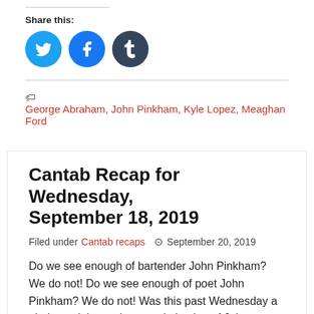Share this:
[Figure (infographic): Three social media share buttons: Twitter (cyan circle with bird icon), Facebook (blue circle with f icon), Tumblr (dark blue circle with t icon)]
George Abraham, John Pinkham, Kyle Lopez, Meaghan Ford
Cantab Recap for Wednesday, September 18, 2019
Filed under Cantab recaps  September 20, 2019
Do we see enough of bartender John Pinkham? We do not! Do we see enough of poet John Pinkham? We do not! Was this past Wednesday a glorious triple-catchup candy-basket of John Pinkham goodness? IT WAS, IT WAS. John started